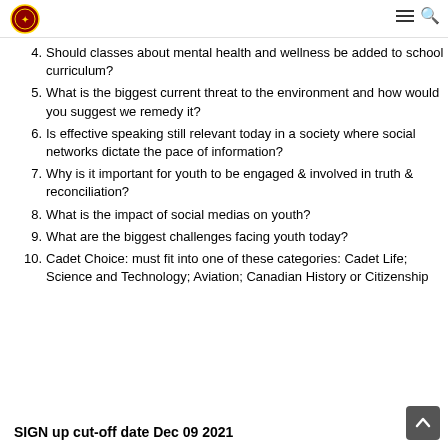Cadet organization website header with logo and navigation icons
4. Should classes about mental health and wellness be added to school curriculum?
5. What is the biggest current threat to the environment and how would you suggest we remedy it?
6. Is effective speaking still relevant today in a society where social networks dictate the pace of information?
7. Why is it important for youth to be engaged & involved in truth & reconciliation?
8. What is the impact of social medias on youth?
9. What are the biggest challenges facing youth today?
10. Cadet Choice: must fit into one of these categories: Cadet Life; Science and Technology; Aviation; Canadian History or Citizenship
SIGN up cut-off date Dec 09 2021